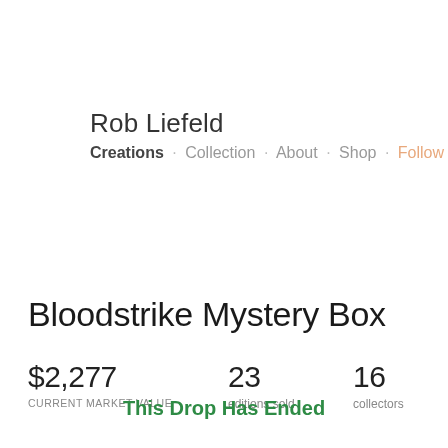Rob Liefeld
Creations · Collection · About · Shop · Follow
Bloodstrike Mystery Box
$2,277 CURRENT MARKET VALUE
23 editions sold
16 collectors
This Drop Has Ended